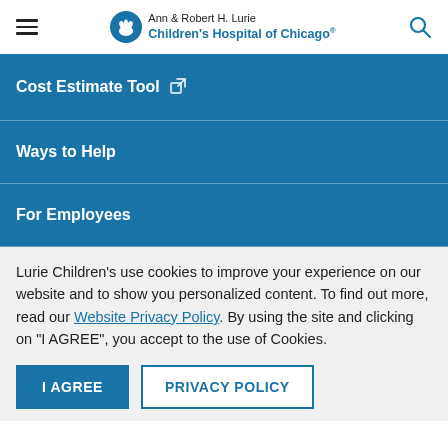Ann & Robert H. Lurie Children's Hospital of Chicago
Cost Estimate Tool
Ways to Help
For Employees
Lurie Children's use cookies to improve your experience on our website and to show you personalized content. To find out more, read our Website Privacy Policy. By using the site and clicking on "I AGREE", you accept to the use of Cookies.
I AGREE | PRIVACY POLICY